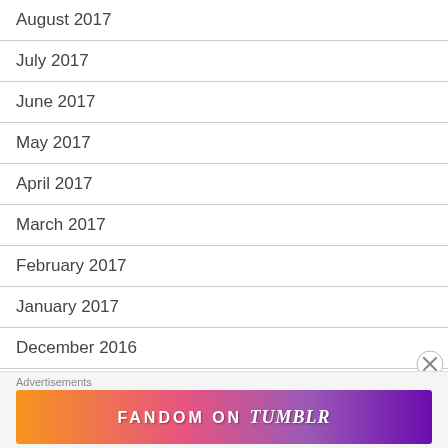August 2017
July 2017
June 2017
May 2017
April 2017
March 2017
February 2017
January 2017
December 2016
November 2016
October 2016
Advertisements
[Figure (illustration): Fandom on Tumblr advertisement banner with colorful gradient background]